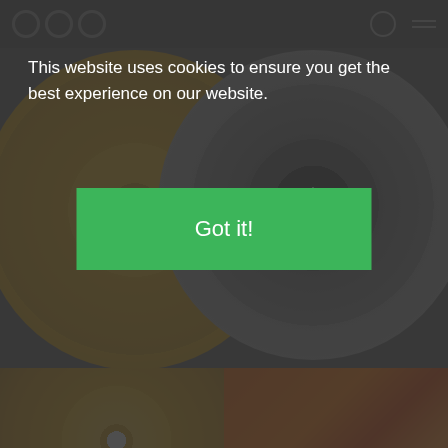OYE Records website header with logo and navigation
This website uses cookies to ensure you get the best experience on our website.
Got it!
[Figure (screenshot): Product card: Rick Wade - Late Right EP, yellow vinyl record, with cart and play buttons]
Rick Wade
13.95 €
Late Right EP
[Figure (screenshot): Product card: Rick Wade - The Mack Of Moscow Ep, orange geometric vinyl sleeve, with cart button]
Rick Wade
11.00 €
The Mack Of Moscow Ep
[Figure (photo): Album artwork: black background with white circle divided into quarters by crosshair lines]
[Figure (photo): Album artwork: teal/turquoise vinyl record with Rick Wade label text]